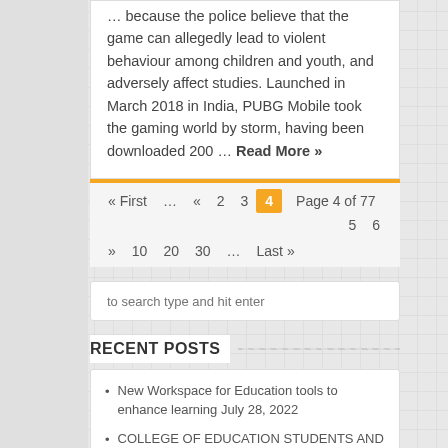... because the police believe that the game can allegedly lead to violent behaviour among children and youth, and adversely affect studies. Launched in March 2018 in India, PUBG Mobile took the gaming world by storm, having been downloaded 200 … Read More »
« First … « 2 3 4 Page 4 of 77 5 6 » 10 20 30 … Last »
to search type and hit enter
RECENT POSTS
New Workspace for Education tools to enhance learning July 28, 2022
COLLEGE OF EDUCATION STUDENTS AND FACULTY PRESENT RESEARCH, WIN AWARDS AT NAPDS NATIONAL